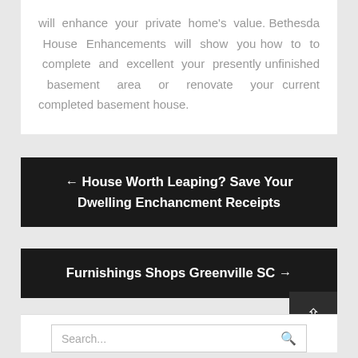will enhance your private home's value. Bethesda House Enhancements will show you how to to complete and excellent your presently unfinished basement area or renovate your current completed basement house.
← House Worth Leaping? Save Your Dwelling Enchancment Receipts
Furnishings Shops Greenville SC →